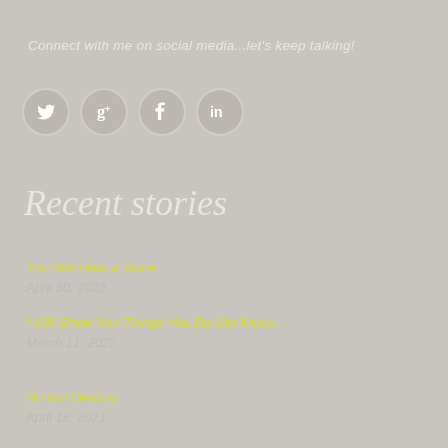Connect with me on social media...let's keep talking!
[Figure (illustration): Four social media icon circles: Twitter bird, Google plus G, Facebook f, LinkedIn in]
Recent stories
You Will Hear a Voice
April 30, 2022
I Will Show You Things You Do Not Know...
March 11, 2022
Do Not Destroy
April 16, 2021